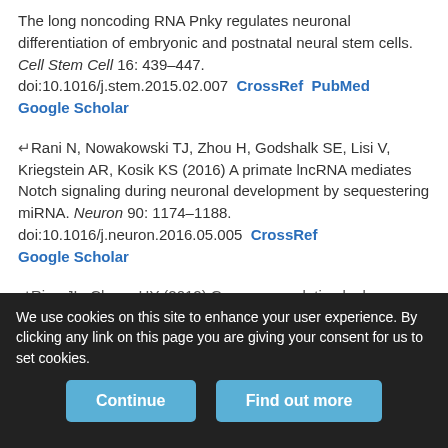The long noncoding RNA Pnky regulates neuronal differentiation of embryonic and postnatal neural stem cells. Cell Stem Cell 16: 439–447. doi:10.1016/j.stem.2015.02.007  CrossRef  PubMed  Google Scholar
↵Rani N, Nowakowski TJ, Zhou H, Godshalk SE, Lisi V, Kriegstein AR, Kosik KS (2016) A primate lncRNA mediates Notch signaling during neuronal development by sequestering miRNA. Neuron 90: 1174–1188. doi:10.1016/j.neuron.2016.05.005  CrossRef  Google Scholar
↵Rinn JL, Chang HY (2012) Genome regulation by long
We use cookies on this site to enhance your user experience. By clicking any link on this page you are giving your consent for us to set cookies.